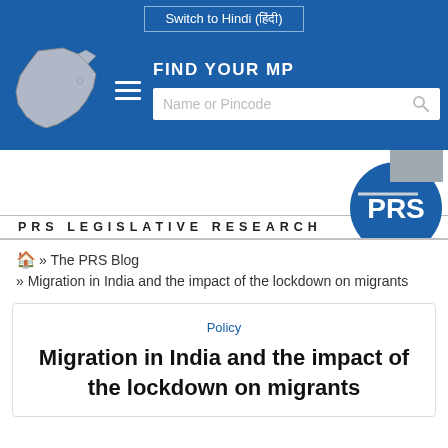Switch to Hindi (हिंदी)
[Figure (screenshot): Navigation bar with India map, hamburger menu, FIND YOUR MP heading, and Name or Pincode search box on blue background]
[Figure (logo): PRS Legislative Research logo with blue circular badge containing PRS text and horizontal line]
🏠 » The PRS Blog
» Migration in India and the impact of the lockdown on migrants
Policy
Migration in India and the impact of the lockdown on migrants